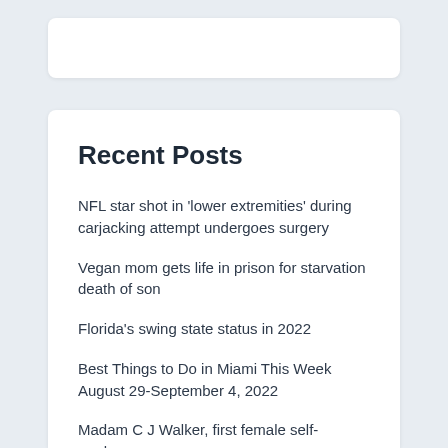Recent Posts
NFL star shot in 'lower extremities' during carjacking attempt undergoes surgery
Vegan mom gets life in prison for starvation death of son
Florida's swing state status in 2022
Best Things to Do in Miami This Week August 29-September 4, 2022
Madam C J Walker, first female self-made…